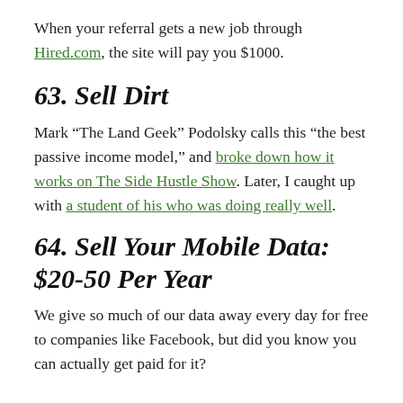When your referral gets a new job through Hired.com, the site will pay you $1000.
63. Sell Dirt
Mark “The Land Geek” Podolsky calls this “the best passive income model,” and broke down how it works on The Side Hustle Show. Later, I caught up with a student of his who was doing really well.
64. Sell Your Mobile Data: $20-50 Per Year
We give so much of our data away every day for free to companies like Facebook, but did you know you can actually get paid for it?